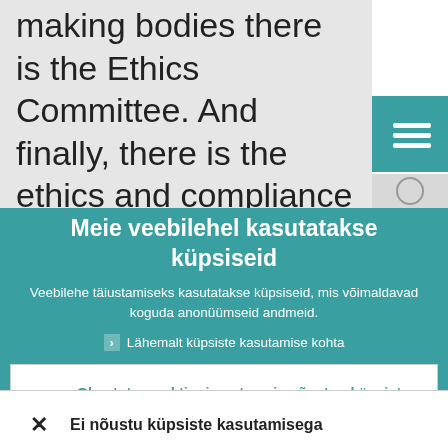making bodies there is the Ethics Committee. And finally, there is the ethics and compliance officers task force that al covers the national authorities.
Meie veebilehel kasutatakse küpsiseid
Veebilehe täiustamiseks kasutatakse küpsiseid, mis võimaldavad koguda anonüümseid andmeid.
Lähemalt küpsiste kasutamise kohta
Olen tutvunud tingimustega ja nõustun küpsiste kasutamisega
Ei nõustu küpsiste kasutamisega